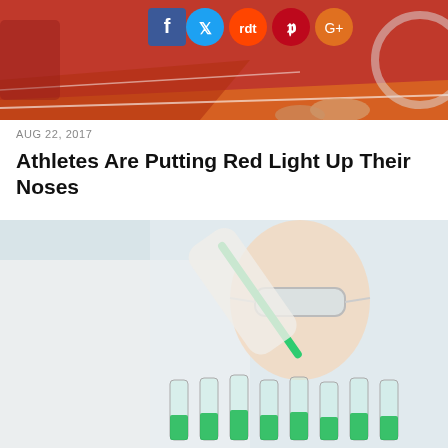[Figure (photo): Runner on a track with social media sharing buttons (Facebook, Twitter, Reddit, Pinterest, Google+) overlaid at the top]
AUG 22, 2017
Athletes Are Putting Red Light Up Their Noses
[Figure (photo): Scientist wearing safety goggles holding a green pipette over a row of test tubes filled with green liquid]